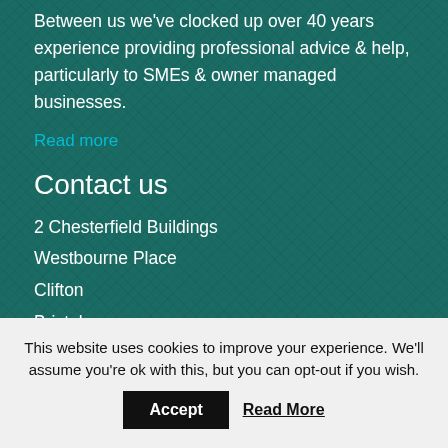Between us we've clocked up over 40 years experience providing professional advice & help, particularly to SMEs & owner managed businesses.
Read more
Contact us
2 Chesterfield Buildings
Westbourne Place
Clifton
Bristol
BS8 1RU
Directions to our office
Registered as auditors and regulated for a range of investment business
This website uses cookies to improve your experience. We'll assume you're ok with this, but you can opt-out if you wish.